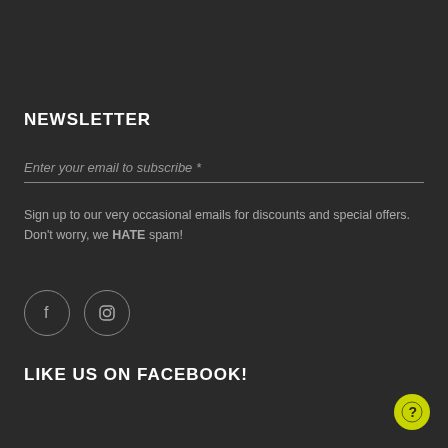NEWSLETTER
Enter your email to subscribe *
Sign up to our very occasional emails for discounts and special offers. Don't worry, we HATE spam!
[Figure (infographic): Two circular social media icons: Facebook (f) and Instagram (camera icon), outlined in gray on dark background]
LIKE US ON FACEBOOK!
[Figure (infographic): Yellow-green circular help/question mark button in bottom right corner]